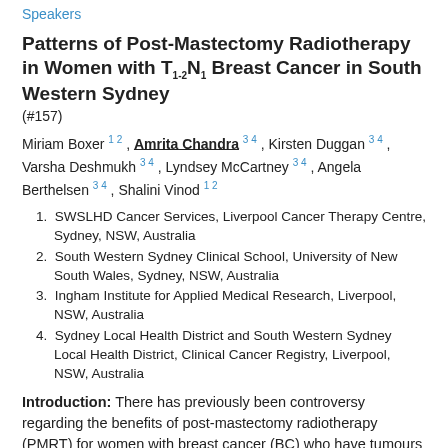Speakers
Patterns of Post-Mastectomy Radiotherapy in Women with T1-2N1 Breast Cancer in South Western Sydney
(#157)
Miriam Boxer 1 2 , Amrita Chandra 3 4 , Kirsten Duggan 3 4 , Varsha Deshmukh 3 4 , Lyndsey McCartney 3 4 , Angela Berthelsen 3 4 , Shalini Vinod 1 2
1. SWSLHD Cancer Services, Liverpool Cancer Therapy Centre, Sydney, NSW, Australia
2. South Western Sydney Clinical School, University of New South Wales, Sydney, NSW, Australia
3. Ingham Institute for Applied Medical Research, Liverpool, NSW, Australia
4. Sydney Local Health District and South Western Sydney Local Health District, Clinical Cancer Registry, Liverpool, NSW, Australia
Introduction: There has previously been controversy regarding the benefits of post-mastectomy radiotherapy (PMRT) for women with breast cancer (BC) who have tumours less than 5cm (T1-2) and one to three positive lymph nodes (N1).  In 2014, the Early Breast Cancer Trialists'